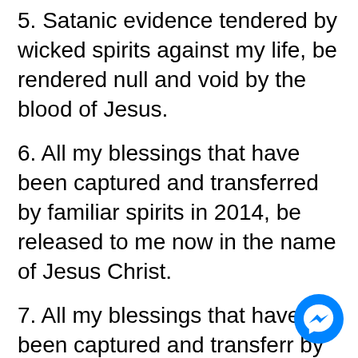5. Satanic evidence tendered by wicked spirits against my life, be rendered null and void by the blood of Jesus.
6. All my blessings that have been captured and transferred by familiar spirits in 2014, be released to me now in the name of Jesus Christ.
7. All my blessings that have been captured and transferred by ancestral strongmen and
[Figure (illustration): Blue circular Facebook Messenger chat button with white chat bubble icon]